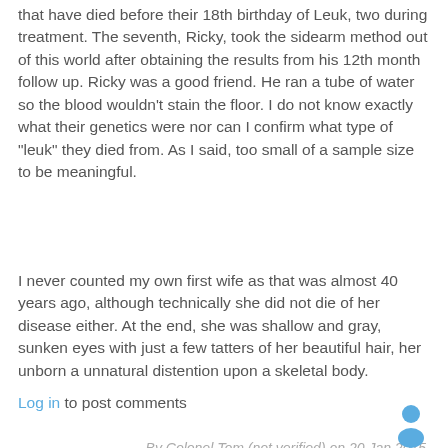that have died before their 18th birthday of Leuk, two during treatment. The seventh, Ricky, took the sidearm method out of this world after obtaining the results from his 12th month follow up. Ricky was a good friend. He ran a tube of water so the blood wouldn't stain the floor. I do not know exactly what their genetics were nor can I confirm what type of "leuk" they died from. As I said, too small of a sample size to be meaningful.
I never counted my own first wife as that was almost 40 years ago, although technically she did not die of her disease either. At the end, she was shallow and gray, sunken eyes with just a few tatters of her beautiful hair, her unborn a unnatural distention upon a skeletal body.
Log in to post comments
By Colonel Tom (not verified) on 20 Jan 2015
#permalink